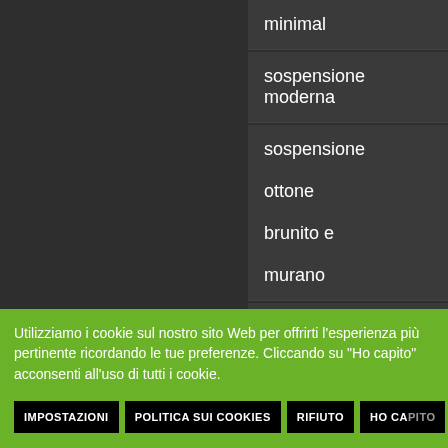minimal
sospensione moderna
sospensione ottone brunito e murano
sospensione
Utilizziamo i cookie sul nostro sito Web per offrirti l'esperienza più pertinente ricordando le tue preferenze. Cliccando su "Ho capito" acconsenti all'uso di tutti i cookie.
IMPOSTAZIONI | POLITICA SUI COOKIES | RIFIUTO | HO CAPITO